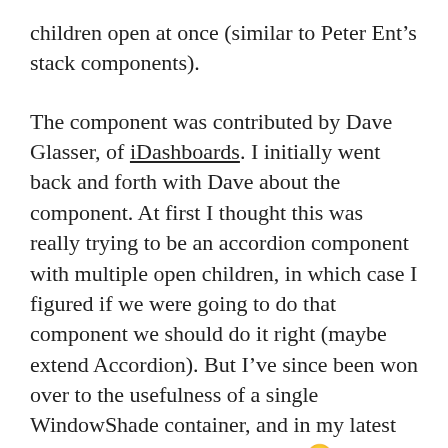children open at once (similar to Peter Ent’s stack components).
The component was contributed by Dave Glasser, of iDashboards. I initially went back and forth with Dave about the component. At first I thought this was really trying to be an accordion component with multiple open children, in which case I figured if we were going to do that component we should do it right (maybe extend Accordion). But I’ve since been won over to the usefulness of a single WindowShade container, and in my latest project I even used it – 3 times 🙂 So I